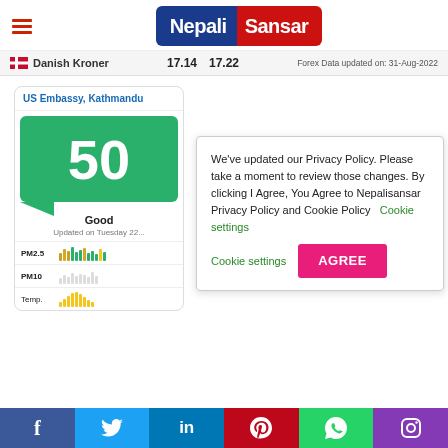Nepali Sansar
Danish Kroner  17.14  17.22  Forex Data updated on: 31-Aug-2022
[Figure (infographic): US Embassy Kathmandu air quality widget showing AQI of 50 (Good), with PM2.5, PM10, and Temp mini bar charts. Updated on Tuesday 22.]
We've updated our Privacy Policy. Please take a moment to review those changes. By clicking I Agree, You Agree to Nepalisansar Privacy Policy and Cookie Policy  Cookie settings  AGREE
Facebook  Twitter  LinkedIn  Pinterest  WhatsApp  Instagram